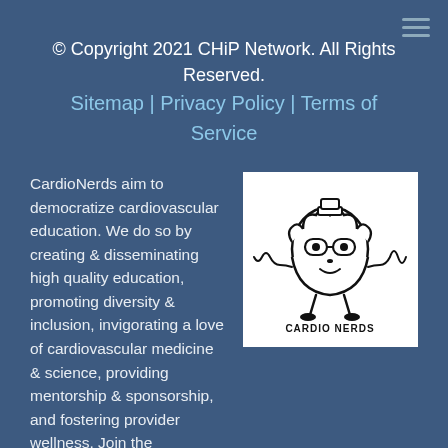≡
© Copyright 2021 CHiP Network. All Rights Reserved.
Sitemap | Privacy Policy | Terms of Service
CardioNerds aim to democratize cardiovascular education. We do so by creating & disseminating high quality education, promoting diversity & inclusion, invigorating a love of cardiovascular medicine & science, providing mentorship & sponsorship, and fostering provider wellness. Join the CardioNerds family and visit us at cardionerds.com to enjoy podcasts, tweetorials, infographics, journal clubs, and more!
[Figure (logo): CardioNerds logo: cartoon heart character with stethoscope and glasses, with heartbeat line, and text CARDIO NERDS below]